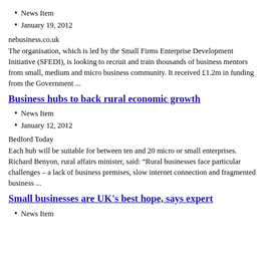News Item
January 19, 2012
nebusiness.co.uk
The organisation, which is led by the Small Firms Enterprise Development Initiative (SFEDI), is looking to recruit and train thousands of business mentors from small, medium and micro business community. It received £1.2m in funding from the Government ...
Business hubs to back rural economic growth
News Item
January 12, 2012
Bedford Today
Each hub will be suitable for between ten and 20 micro or small enterprises. Richard Benyon, rural affairs minister, said: “Rural businesses face particular challenges – a lack of business premises, slow internet connection and fragmented business ...
Small businesses are UK's best hope, says expert
News Item